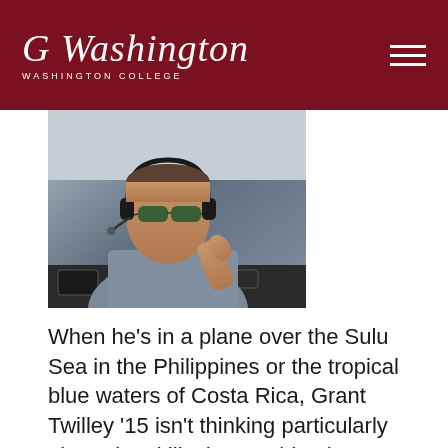Washington College
[Figure (photo): A young man wearing sunglasses and a headset giving a thumbs up inside a small aircraft cockpit.]
When he's in a plane over the Sulu Sea in the Philippines or the tropical blue waters of Costa Rica, Grant Twilley '15 isn't thinking particularly about the skills that got him there. But as a specialist in LIDAR—Light Detection and Ranging—Twilley can point directly to his work with Washington College's GIS Lab and Center for